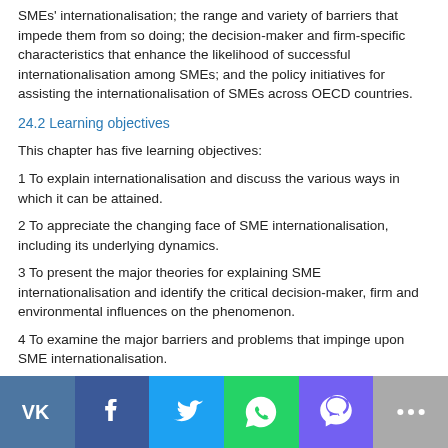SMEs' internationalisation; the range and variety of barriers that impede them from so doing; the decision-maker and firm-specific characteristics that enhance the likelihood of successful internationalisation among SMEs; and the policy initiatives for assisting the internationalisation of SMEs across OECD countries.
24.2 Learning objectives
This chapter has five learning objectives:
1 To explain internationalisation and discuss the various ways in which it can be attained.
2 To appreciate the changing face of SME internationalisation, including its underlying dynamics.
3 To present the major theories for explaining SME internationalisation and identify the critical decision-maker, firm and environmental influences on the phenomenon.
4 To examine the major barriers and problems that impinge upon SME internationalisation.
5 To review the policy measures and institutional mechanisms commonly employed to assist SME internationalisation and make relevant recommendations.
[Figure (infographic): Social media sharing bar with VK, Facebook, Twitter, WhatsApp, Viber, and more (ellipsis) buttons]